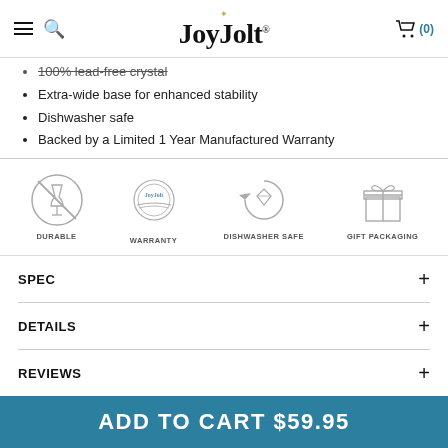JoyJolt
100% lead-free crystal
Extra-wide base for enhanced stability
Dishwasher safe
Backed by a Limited 1 Year Manufactured Warranty
[Figure (infographic): Four icons: Durable (wine glass with cross), Warranty (JoyJolt seal), Dishwasher Safe (circular arrow with gem), Gift Packaging (gift box)]
SPEC
DETAILS
REVIEWS
ADD TO CART $59.95